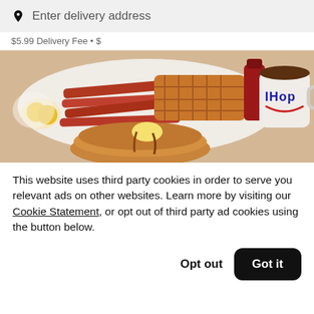Enter delivery address
$5.99 Delivery Fee • $
[Figure (photo): IHOP breakfast food photo showing eggs, bacon, waffles, pancakes with butter and syrup, and an IHOP branded coffee mug]
This website uses third party cookies in order to serve you relevant ads on other websites. Learn more by visiting our Cookie Statement, or opt out of third party ad cookies using the button below.
Opt out
Got it